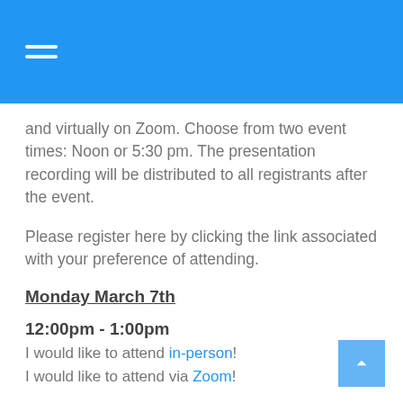and virtually on Zoom. Choose from two event times: Noon or 5:30 pm. The presentation recording will be distributed to all registrants after the event.
Please register here by clicking the link associated with your preference of attending.
Monday March 7th
12:00pm - 1:00pm
I would like to attend in-person!
I would like to attend via Zoom!
5:30pm - 6:30pm
I would like to attend in-person!
I would like to attend via Zoom!